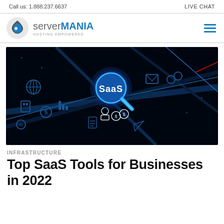Call us: 1.888.237.6637    LIVE CHAT
[Figure (logo): Server Mania logo with flame/droplet icon and text 'server MANIA HOSTING EMPOWERED']
[Figure (photo): Dark futuristic circuit board image with glowing blue neon SaaS magnifying glass icon and various tech icons floating around it]
INFRASTRUCTURE
Top SaaS Tools for Businesses in 2022